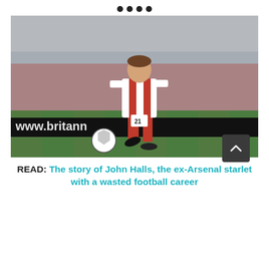[Figure (other): Navigation dots — four filled circles used as a carousel/page indicator]
[Figure (photo): A football player wearing a red and white striped Stoke City kit with number 21, taking a shot or passing the ball on a green pitch. A football is visible on the ground in front of him. Stadium advertising board shows www.britann in the background. Crowd seated in red seats behind.]
READ: The story of John Halls, the ex-Arsenal starlet with a wasted football career